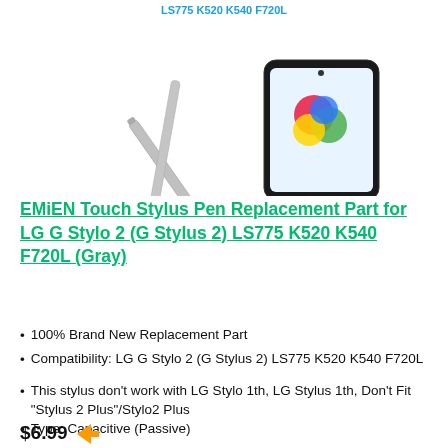[Figure (photo): Product image showing a gray stylus pen and an LG smartphone displaying a colorful logo. The text 'LS775 K520 K540 F720L' appears in blue above the stylus.]
EMiEN Touch Stylus Pen Replacement Part for LG G Stylo 2 (G Stylus 2) LS775 K520 K540 F720L (Gray)
100% Brand New Replacement Part
Compatibility: LG G Stylo 2 (G Stylus 2) LS775 K520 K540 F720L
This stylus don't work with LG Stylo 1th, LG Stylus 1th, Don't Fit "Stylus 2 Plus"/Stylo2 Plus
Type: Capacitive (Passive)
Color: Gray
$6.99